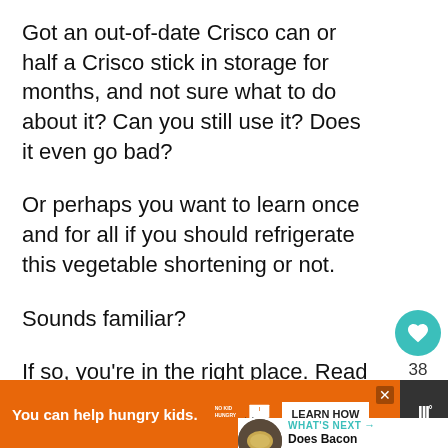Got an out-of-date Crisco can or half a Crisco stick in storage for months, and not sure what to do about it? Can you still use it? Does it even go bad?
Or perhaps you want to learn once and for all if you should refrigerate this vegetable shortening or not.
Sounds familiar?
If so, you’re in the right place. Read on.
[Figure (infographic): Social media sidebar with heart/like button showing 38 likes and a share button]
[Figure (infographic): What's Next widget with image of food item and text: Does Bacon Grease Go...]
[Figure (infographic): Ad banner: You can help hungry kids. No Kid Hungry. LEARN HOW button.]